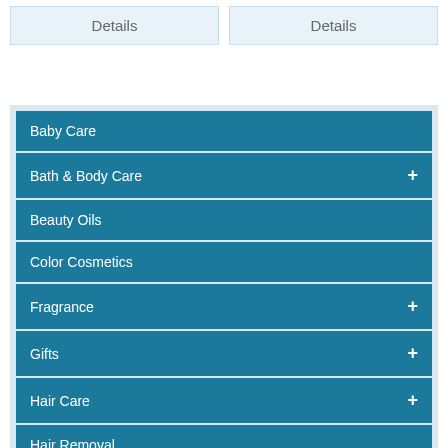Details
Details
Baby Care
Bath & Body Care +
Beauty Oils
Color Cosmetics
Fragrance +
Gifts +
Hair Care +
Hair Removal
Hands & Feet +